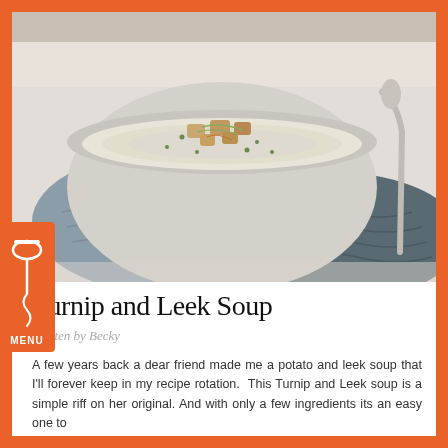[Figure (photo): A bowl of creamy turnip and leek soup topped with croutons and herbs, placed on a grey linen napkin. A spoon is visible to the right. Light, bright food photography style.]
Turnip and Leek Soup
Written by Becky
A few years back a dear friend made me a potato and leek soup that I'll forever keep in my recipe rotation.  This Turnip and Leek soup is a simple riff on her original. And with only a few ingredients its an easy one to